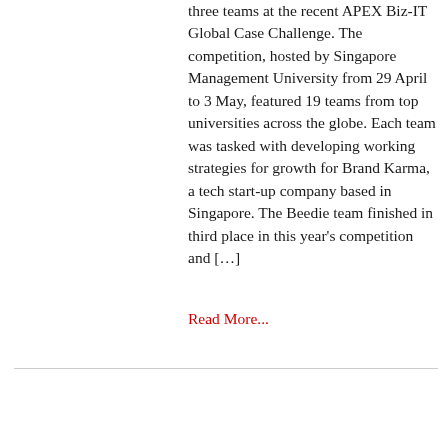three teams at the recent APEX Biz-IT Global Case Challenge. The competition, hosted by Singapore Management University from 29 April to 3 May, featured 19 teams from top universities across the globe. Each team was tasked with developing working strategies for growth for Brand Karma, a tech start-up company based in Singapore. The Beedie team finished in third place in this year's competition and […]
Read More...